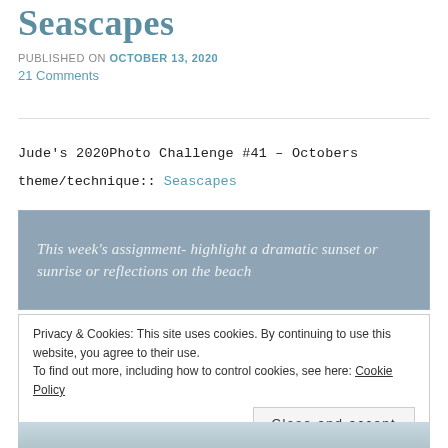Seascapes
PUBLISHED ON October 13, 2020
21 Comments
Jude's 2020Photo Challenge #41 – Octobers theme/technique:: Seascapes
This week's assignment- highlight a dramatic sunset or sunrise or reflections on the beach
Privacy & Cookies: This site uses cookies. By continuing to use this website, you agree to their use.
To find out more, including how to control cookies, see here: Cookie Policy
Close and accept
[Figure (photo): Bottom edge of a seascape photograph partially visible]